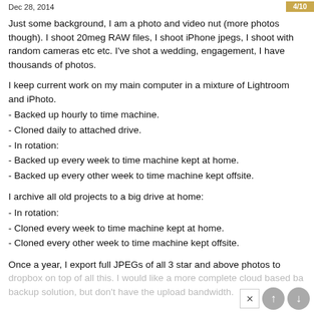Dec 28, 2014
Just some background, I am a photo and video nut (more photos though). I shoot 20meg RAW files, I shoot iPhone jpegs, I shoot with random cameras etc etc. I've shot a wedding, engagement, I have thousands of photos.
I keep current work on my main computer in a mixture of Lightroom and iPhoto.
- Backed up hourly to time machine.
- Cloned daily to attached drive.
- In rotation:
- Backed up every week to time machine kept at home.
- Backed up every other week to time machine kept offsite.
I archive all old projects to a big drive at home:
- In rotation:
- Cloned every week to time machine kept at home.
- Cloned every other week to time machine kept offsite.
Once a year, I export full JPEGs of all 3 star and above photos to dropbox on top of all this. I would like a more complete cloud based backup solution, but don't have the upload bandwidth.